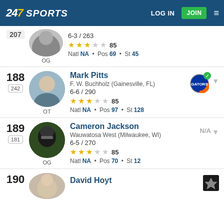247SPORTS | LOG IN | JOIN
Rank 207 / 263 | OG | 6-3 / 263 | Stars: 3/5 | Rating: 85 | Natl NA | Pos 69 | St 45
188 / 242 | Mark Pitts | F. W. Buchholz (Gainesville, FL) | OT | 6-6 / 290 | Stars: 3/5 | Rating: 85 | Natl NA | Pos 97 | St 128
189 / 181 | Cameron Jackson | Wauwatosa West (Milwaukee, WI) | OG | 6-5 / 270 | Stars: 3/5 | Rating: 85 | Natl NA | Pos 70 | St 12
190 | David Hoyt